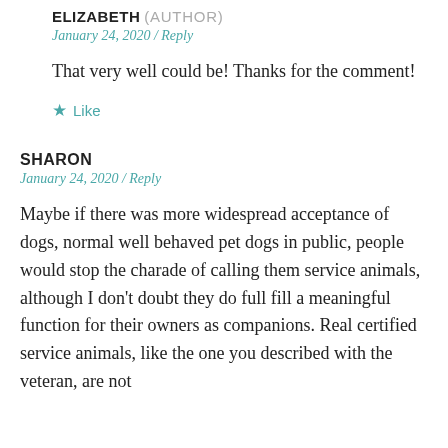ELIZABETH (AUTHOR)
January 24, 2020 / Reply
That very well could be! Thanks for the comment!
★ Like
SHARON
January 24, 2020 / Reply
Maybe if there was more widespread acceptance of dogs, normal well behaved pet dogs in public, people would stop the charade of calling them service animals, although I don't doubt they do full fill a meaningful function for their owners as companions. Real certified service animals, like the one you described with the veteran, are not